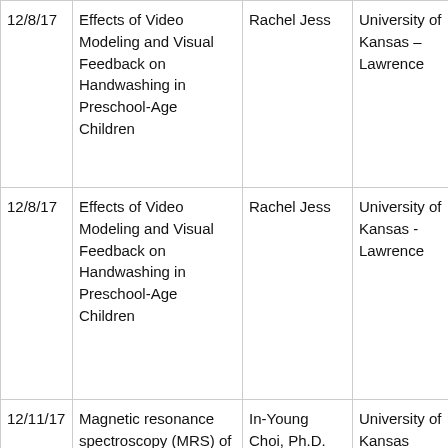| 12/8/17 | Effects of Video Modeling and Visual Feedback on Handwashing in Preschool-Age Children | Rachel Jess | University of Kansas – Lawrence |
| 12/8/17 | Effects of Video Modeling and Visual Feedback on Handwashing in Preschool-Age Children | Rachel Jess | University of Kansas - Lawrence |
| 12/11/17 | Magnetic resonance spectroscopy (MRS) of the living brain: What it can | In-Young Choi, Ph.D. | University of Kansas Medical Center |